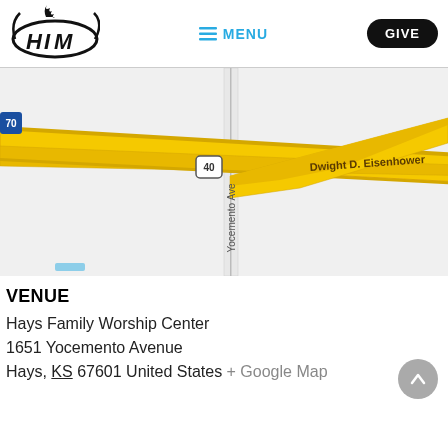[Figure (logo): HIM church logo — oval swoosh with stylized letters HIM and flame/smoke above]
≡ MENU
GIVE
[Figure (map): Google Maps screenshot showing intersection of I-70, US-40 (Dwight D. Eisenhower Highway) and Yocemento Ave near Hays, Kansas]
VENUE
Hays Family Worship Center
1651 Yocemento Avenue
Hays, KS 67601 United States + Google Map